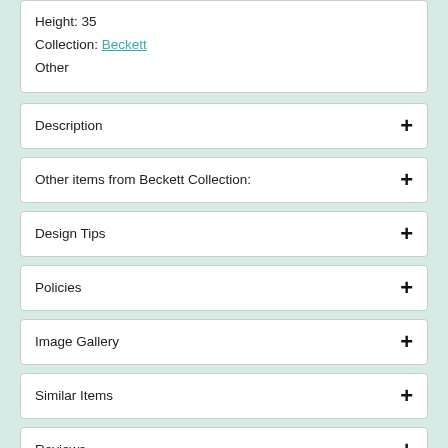Height: 35
Collection: Beckett
Other
Description
Other items from Beckett Collection:
Design Tips
Policies
Image Gallery
Similar Items
Reviews